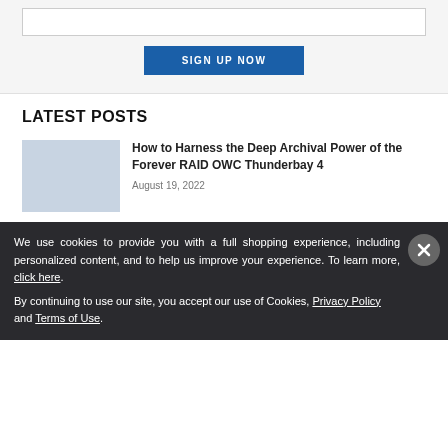[Figure (other): Sign up form input box with SIGN UP NOW button]
LATEST POSTS
How to Harness the Deep Archival Power of the Forever RAID OWC Thunderbay 4
August 19, 2022
We use cookies to provide you with a full shopping experience, including personalized content, and to help us improve your experience. To learn more, click here. By continuing to use our site, you accept our use of Cookies, Privacy Policy and Terms of Use.